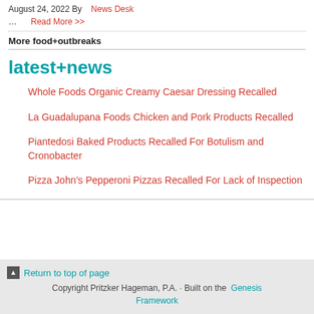August 24, 2022 By  News Desk
…  Read More >>
More food+outbreaks
latest+news
Whole Foods Organic Creamy Caesar Dressing Recalled
La Guadalupana Foods Chicken and Pork Products Recalled
Piantedosi Baked Products Recalled For Botulism and Cronobacter
Pizza John's Pepperoni Pizzas Recalled For Lack of Inspection
Return to top of page  Copyright Pritzker Hageman, P.A. · Built on the Genesis Framework